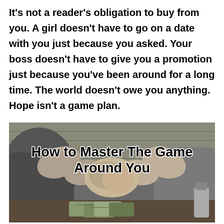It's not a reader's obligation to buy from you. A girl doesn't have to go on a date with you just because you asked. Your boss doesn't have to give you a promotion just because you've been around for a long time. The world doesn't owe you anything. Hope isn't a game plan.
[Figure (photo): Black and white photograph of two people arm wrestling at a table with money visible underneath their locked hands, with the text 'How to Master The Game Around You' overlaid in bold black font]